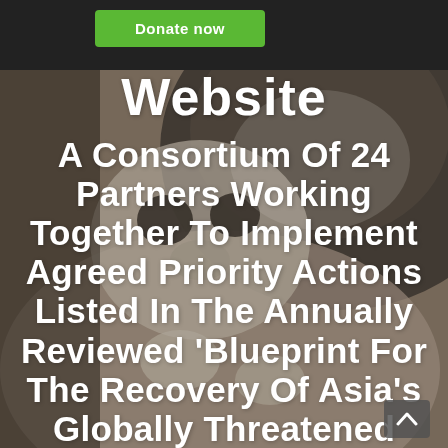[Figure (other): Dark header bar with a green 'Donate now' button on the left]
[Figure (photo): Background photo of a slow loris or similar primate animal being held, with blurred bowl-like background. The image fills the lower portion of the page.]
Website
A Consortium Of 24 Partners Working Together To Implement Agreed Priority Actions Listed In The Annually Reviewed ‘Blueprint For The Recovery Of Asia’s Globally Threatened